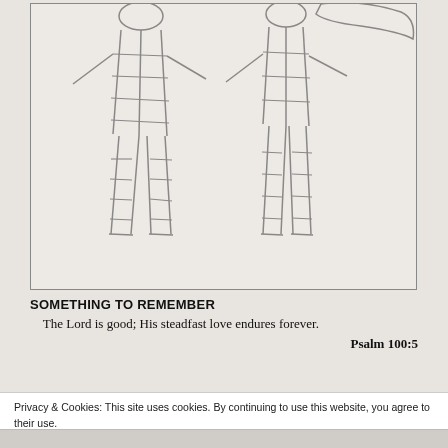[Figure (illustration): A child's pencil drawing showing two figures (stick/grid-style figures) standing side by side, drawn with crosshatched grid lines on their bodies and limbs. Background is a light beige/cream, image bordered with a thin line.]
SOMETHING TO REMEMBER
The Lord is good; His steadfast love endures forever.
Psalm 100:5
Privacy & Cookies: This site uses cookies. By continuing to use this website, you agree to their use.
To find out more, including how to control cookies, see here: Cookie Policy
Close and accept